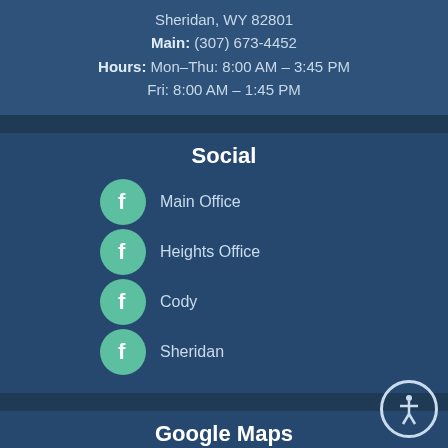Sheridan, WY 82801
Main: (307) 673-4452
Hours: Mon–Thu: 8:00 AM – 3:45 PM
Fri: 8:00 AM – 1:45 PM
Social
Main Office
Heights Office
Cody
Sheridan
Google Maps
Main Office
Heights Office
Cody